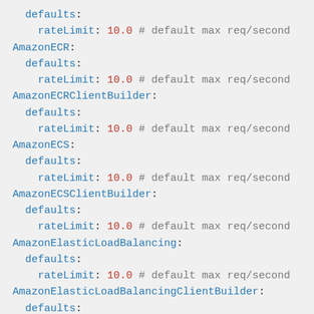defaults:
  rateLimit: 10.0  # default max req/second
AmazonECR:
  defaults:
    rateLimit: 10.0  # default max req/second
AmazonECRClientBuilder:
  defaults:
    rateLimit: 10.0  # default max req/second
AmazonECS:
  defaults:
    rateLimit: 10.0  # default max req/second
AmazonECSClientBuilder:
  defaults:
    rateLimit: 10.0  # default max req/second
AmazonElasticLoadBalancing:
  defaults:
    rateLimit: 10.0  # default max req/second
AmazonElasticLoadBalancingClientBuilder:
  defaults: